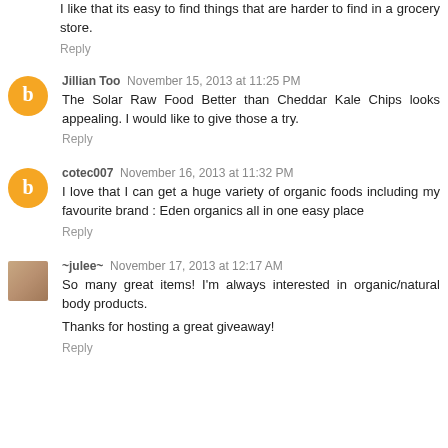I like that its easy to find things that are harder to find in a grocery store.
Reply
Jillian Too  November 15, 2013 at 11:25 PM
The Solar Raw Food Better than Cheddar Kale Chips looks appealing. I would like to give those a try.
Reply
cotec007  November 16, 2013 at 11:32 PM
I love that I can get a huge variety of organic foods including my favourite brand : Eden organics all in one easy place
Reply
~julee~  November 17, 2013 at 12:17 AM
So many great items! I'm always interested in organic/natural body products.
Thanks for hosting a great giveaway!
Reply